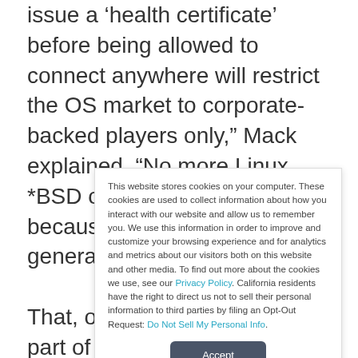issue a 'health certificate' before being allowed to connect anywhere will restrict the OS market to corporate-backed players only," Mack explained. "No more Linux, *BSD or any experimental OS because they won't be able to generate the certificate."
That, of course, just might be part of the idea, Mack noted,
This website stores cookies on your computer. These cookies are used to collect information about how you interact with our website and allow us to remember you. We use this information in order to improve and customize your browsing experience and for analytics and metrics about our visitors both on this website and other media. To find out more about the cookies we use, see our Privacy Policy. California residents have the right to direct us not to sell their personal information to third parties by filing an Opt-Out Request: Do Not Sell My Personal Info.